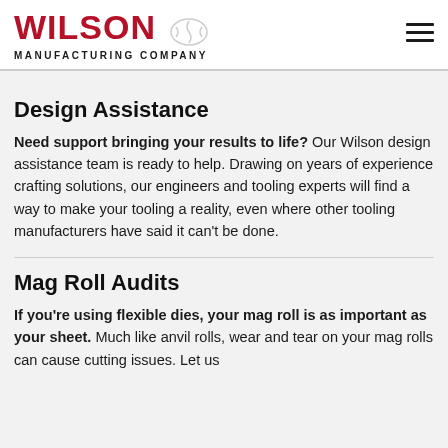WILSON MANUFACTURING COMPANY
Design Assistance
Need support bringing your results to life? Our Wilson design assistance team is ready to help. Drawing on years of experience crafting solutions, our engineers and tooling experts will find a way to make your tooling a reality, even where other tooling manufacturers have said it can't be done.
Mag Roll Audits
If you're using flexible dies, your mag roll is as important as your sheet. Much like anvil rolls, wear and tear on your mag rolls can cause cutting issues. Let us